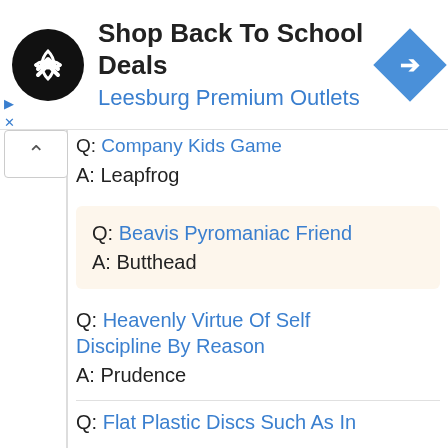[Figure (screenshot): Ad banner: black circular logo with two overlapping arrows, text 'Shop Back To School Deals / Leesburg Premium Outlets', blue diamond navigation icon on right, small play and X icons on left side]
Q: Company Kids Game
A: Leapfrog
Q: Beavis Pyromaniac Friend
A: Butthead
Q: Heavenly Virtue Of Self Discipline By Reason
A: Prudence
Q: Flat Plastic Discs Such As In...